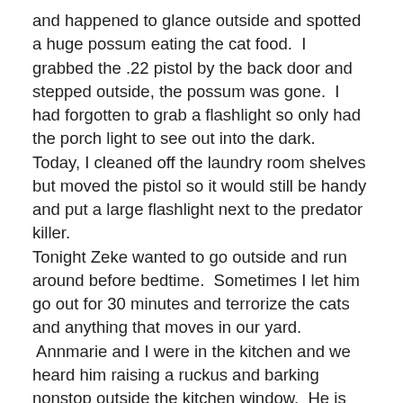and happened to glance outside and spotted a huge possum eating the cat food.  I grabbed the .22 pistol by the back door and stepped outside, the possum was gone.  I had forgotten to grab a flashlight so only had the porch light to see out into the dark.  Today, I cleaned off the laundry room shelves but moved the pistol so it would still be handy and put a large flashlight next to the predator killer.
Tonight Zeke wanted to go outside and run around before bedtime.  Sometimes I let him go out for 30 minutes and terrorize the cats and anything that moves in our yard.
 Annmarie and I were in the kitchen and we heard him raising a ruckus and barking nonstop outside the kitchen window.  He is not a barker, almost never barks.  So I grab the pistol and large flashlight and go out the back door.  Zeke is running around the base of the maple tree barking up at something, a raccoon!  He had treed a raccoon.  I went over to the base of the tree and brought out the pistol, as soon as Zeke saw the pistol he took